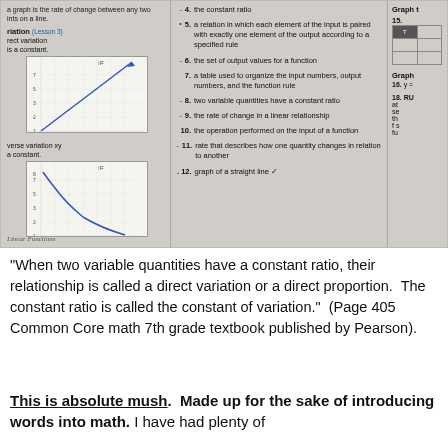[Figure (photo): Photograph of a math textbook page showing vocabulary matching exercise with two graphs (direct variation linear graph and inverse variation curve), and numbered items 4-12 with definitions, plus partial view of right column with Graph section items 15, 16, 18.]
"When two variable quantities have a constant ratio, their relationship is called a direct variation or a direct proportion.  The constant ratio is called the constant of variation."  (Page 405 Common Core math 7th grade textbook published by Pearson).
This is absolute mush.  Made up for the sake of introducing words into math.  I have had plenty of